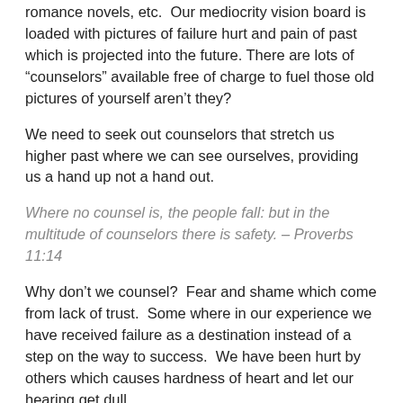romance novels, etc.  Our mediocrity vision board is loaded with pictures of failure hurt and pain of past which is projected into the future. There are lots of “counselors” available free of charge to fuel those old pictures of yourself aren’t they?
We need to seek out counselors that stretch us higher past where we can see ourselves, providing us a hand up not a hand out.
Where no counsel is, the people fall: but in the multitude of counselors there is safety. – Proverbs 11:14
Why don’t we counsel?  Fear and shame which come from lack of trust.  Some where in our experience we have received failure as a destination instead of a step on the way to success.  We have been hurt by others which causes hardness of heart and let our hearing get dull.